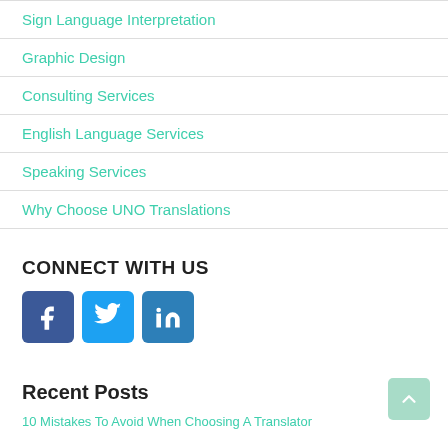Sign Language Interpretation
Graphic Design
Consulting Services
English Language Services
Speaking Services
Why Choose UNO Translations
CONNECT WITH US
[Figure (infographic): Three social media icon buttons: Facebook (blue), Twitter (light blue), LinkedIn (blue)]
Recent Posts
10 Mistakes To Avoid When Choosing A Translator